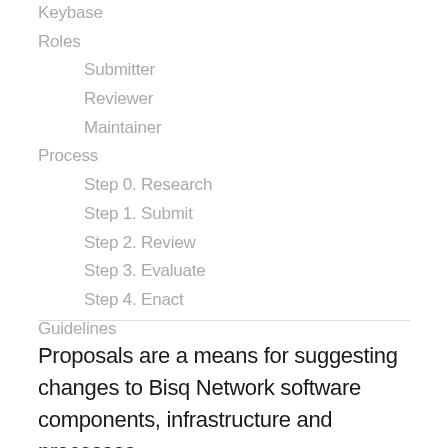Keybase
Roles
Submitter
Reviewer
Maintainer
Process
Step 0. Research
Step 1. Submit
Step 2. Review
Step 3. Evaluate
Step 4. Enact
Guidelines
Proposals are a means for suggesting changes to Bisq Network software components, infrastructure and processes.